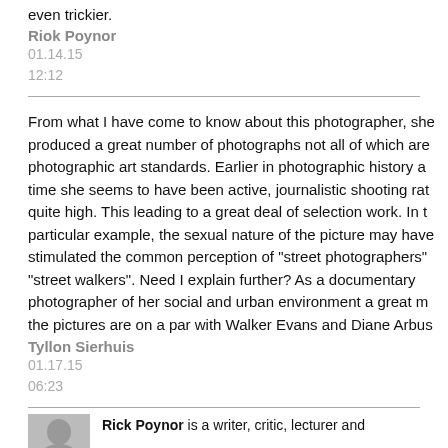even trickier.
Riok Poynor
01.14.15
12:12
From what I have come to know about this photographer, she produced a great number of photographs not all of which are photographic art standards. Earlier in photographic history at time she seems to have been active, journalistic shooting rat quite high. This leading to a great deal of selection work. In t particular example, the sexual nature of the picture may have stimulated the common perception of "street photographers" "street walkers". Need I explain further? As a documentary photographer of her social and urban environment a great m the pictures are on a par with Walker Evans and Diane Arbus
Tyllon Sierhuis
01.17.15
06:23
Rick Poynor is a writer, critic, lecturer and